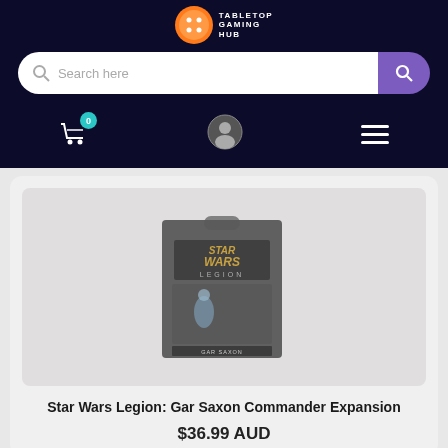[Figure (logo): Tabletop Gaming Hub logo with orange die icon and white text]
Search here
[Figure (screenshot): Navigation bar with shopping cart (0 items), user profile icon, and hamburger menu on dark background]
[Figure (photo): Star Wars Legion: Gar Saxon Commander Expansion board game box showing miniature figure]
Star Wars Legion: Gar Saxon Commander Expansion
$36.99 AUD